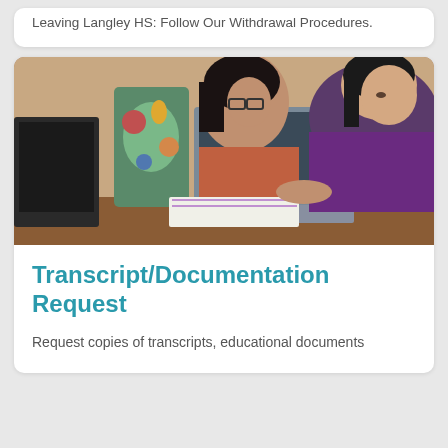Leaving Langley HS: Follow Our Withdrawal Procedures.
[Figure (photo): Two female students working on laptops at a desk in a classroom setting. One student in the foreground wears a purple jacket and looks at a laptop screen; another student behind her wears an orange/rust-colored top and types on her laptop. A colorful patterned bag is visible between them.]
Transcript/Documentation Request
Request copies of transcripts, educational documents